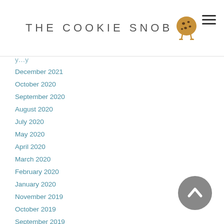THE COOKIE SNOB
December 2021
October 2020
September 2020
August 2020
July 2020
May 2020
April 2020
March 2020
February 2020
January 2020
November 2019
October 2019
September 2019
August 2019
May 2019
April 2019